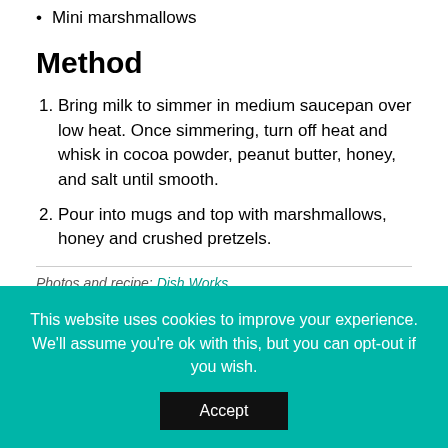Mini marshmallows
Method
Bring milk to simmer in medium saucepan over low heat. Once simmering, turn off heat and whisk in cocoa powder, peanut butter, honey, and salt until smooth.
Pour into mugs and top with marshmallows, honey and crushed pretzels.
Photos and recipe: Dish Works
[Figure (photo): Food photo showing a bowl with shrimp dish and colorful tomatoes]
[Figure (photo): Food photo showing sliced dark bread, cucumber slices in a bowl, and herbs]
This website uses cookies to improve your experience. We'll assume you're ok with this, but you can opt-out if you wish.